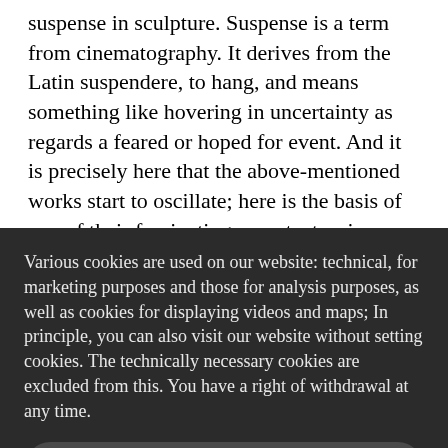suspense in sculpture. Suspense is a term from cinematography. It derives from the Latin suspendere, to hang, and means something like hovering in uncertainty as regards a feared or hoped for event. And it is precisely here that the above-mentioned works start to oscillate; here is the basis of one of their fascinating aspects: tension arises due to a particular situation, an event threatening to come about. We are gripped by the prospect of an event that does not necessarily happen, but could. We recipients see this something lurking right in front of us. Enlightened and
Various cookies are used on our website: technical, for marketing purposes and those for analysis purposes, as well as cookies for displaying videos and maps; In principle, you can also visit our website without setting cookies. The technically necessary cookies are excluded from this. You have a right of withdrawal at any time.
only technically necessary
Agree to all
Customize...